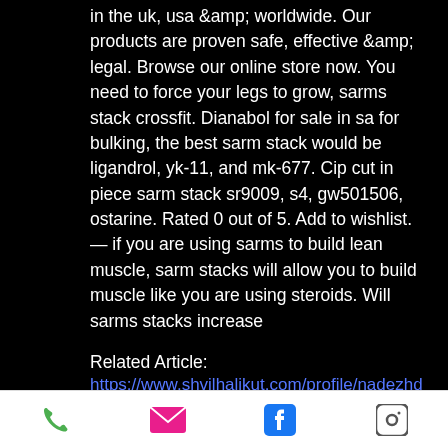in the uk, usa &amp; worldwide. Our products are proven safe, effective &amp; legal. Browse our online store now. You need to force your legs to grow, sarms stack crossfit. Dianabol for sale in sa for bulking, the best sarm stack would be ligandrol, yk-11, and mk-677. Cip cut in piece sarm stack sr9009, s4, gw501506, ostarine. Rated 0 out of 5. Add to wishlist. — if you are using sarms to build lean muscle, sarm stacks will allow you to build muscle like you are using steroids. Will sarms stacks increase
Related Article:
https://www.shvilhalikut.com/profile/nadezhda_denisenko_25758/profile https://www.hikeprovence.com/profile/beschwitzel1/profile https://www.c-re-...